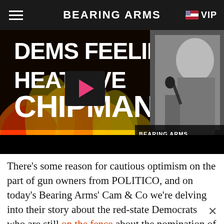BEARING ARMS   VIP
[Figure (screenshot): Video thumbnail showing text 'DEMS FEELING HEAT OVER CHIPMAN' with flames on left, black-and-white photo of man at microphone on right, and 'BEARING ARMS CAM & CO' branding. A play button overlay is visible in the center.]
There’s some reason for cautious optimism on the part of gun owners from POLITICO, and on today’s Bearing Arms’ Cam & Co we’re delving into their story about the red-state Democrats who are still on the fence about the nomination of gun control activist David Chipman to head up the ATF, where he spent 25 years before retiring and going to work for a number of gun control